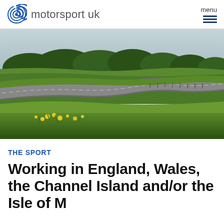motorsport uk
[Figure (photo): Aerial view of a motorsport racing circuit with green grass, yellow wildflowers in the foreground, a winding track in the middle ground, and a treeline in the background under a cloudy sky.]
THE SPORT
Working in England, Wales, the Channel Island and/or the Isle of Man